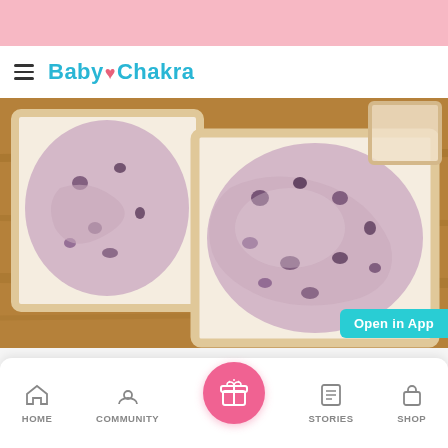BabyChakra
[Figure (photo): Two slices of white bread topped with a creamy, chunky spread with dark pieces mixed in (likely a blueberry or chocolate chip cream spread), placed on a wooden cutting board with bread crusts visible in the background. An 'Open in App' button appears in the bottom right corner.]
HOME  COMMUNITY  [center button]  STORIES  SHOP